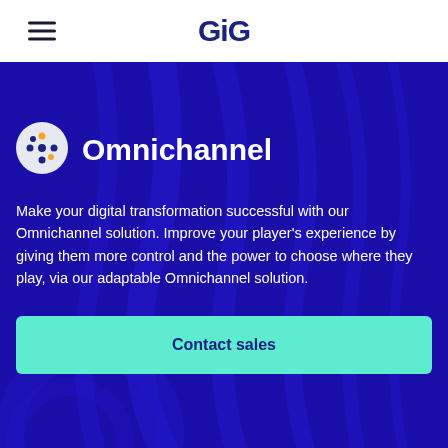GiG
Omnichannel
Make your digital transformation successful with our Omnichannel solution. Improve your player's experience by giving them more control and the power to choose where they play, via our adaptable Omnichannel solution.
Contact sales